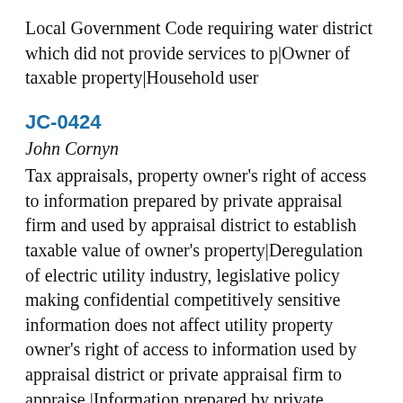Local Government Code requiring water district which did not provide services to p|Owner of taxable property|Household user
JC-0424
John Cornyn
Tax appraisals, property owner's right of access to information prepared by private appraisal firm and used by appraisal district to establish taxable value of owner's property|Deregulation of electric utility industry, legislative policy making confidential competitively sensitive information does not affect utility property owner's right of access to information used by appraisal district or private appraisal firm to appraise |Information prepared by private appraisal firm and used by appraisal district to establish taxable value of property, property